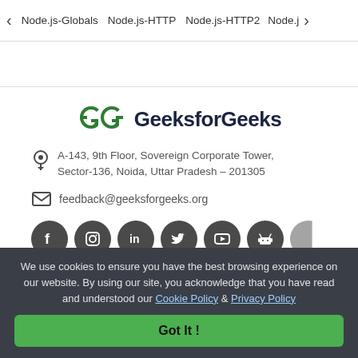< Node.js-Globals   Node.js-HTTP   Node.js-HTTP2   Node.j >
[Figure (logo): GeeksforGeeks logo: two overlapping G shapes in green, followed by text 'GeeksforGeeks' in dark navy]
A-143, 9th Floor, Sovereign Corporate Tower, Sector-136, Noida, Uttar Pradesh – 201305
feedback@geeksforgeeks.org
[Figure (illustration): Row of social media icons: Facebook, Instagram, LinkedIn, Twitter, YouTube, Android (robot), and one more partially visible — all in dark gray circles]
We use cookies to ensure you have the best browsing experience on our website. By using our site, you acknowledge that you have read and understood our Cookie Policy & Privacy Policy
Got It !